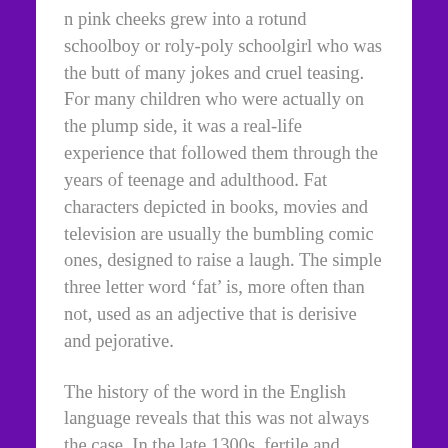n pink cheeks grew into a rotund schoolboy or roly-poly schoolgirl who was the butt of many jokes and cruel teasing. For many children who were actually on the plump side, it was a real-life experience that followed them through the years of teenage and adulthood. Fat characters depicted in books, movies and television are usually the bumbling comic ones, designed to raise a laugh. The simple three letter word ‘fat’ is, more often than not, used as an adjective that is derisive and pejorative.
The history of the word in the English language reveals that this was not always the case. In the late 1300s, fertile and abundant land was described as ‘fat land.’ In the 1600s, a wealthy or affluent person was described as a ‘fat’ person.